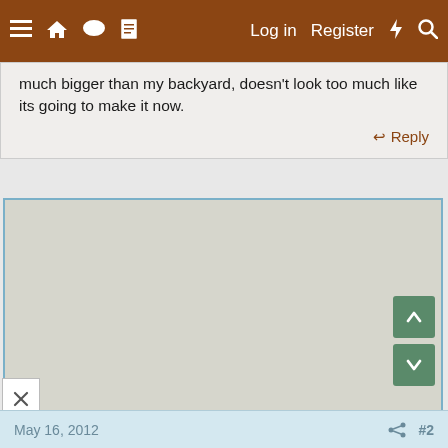≡  ⌂  💬  📄    Log in    Register    ⚡    🔍
much bigger than my backyard, doesn't look too much like its going to make it now.
Reply
[Figure (map): A map/satellite view area shown as a light gray placeholder with navigation arrows (up and down) on the right side, and a close (X) button at the bottom left.]
May 16, 2012    #2